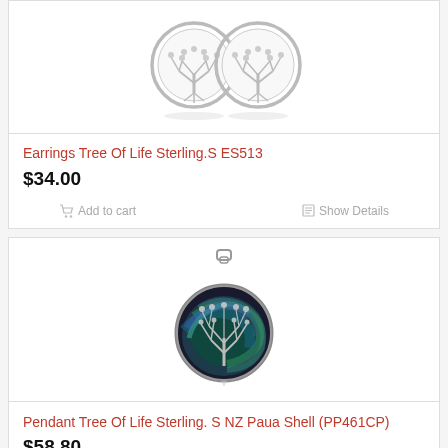[Figure (photo): Two sterling silver Tree of Life stud earrings, circular design with intricate tree branch pattern, shown side by side with reflections below]
Earrings Tree Of Life Sterling.S ES513
$34.00
Add to cart
Show Details
[Figure (photo): A circular sterling silver pendant with a Tree of Life design set against a NZ Paua Shell (abalone) background in blue-green iridescent colors, with a bail at the top]
Pendant Tree Of Life Sterling. S NZ Paua Shell (PP461CP)
$58.80
Add to cart
Show Details